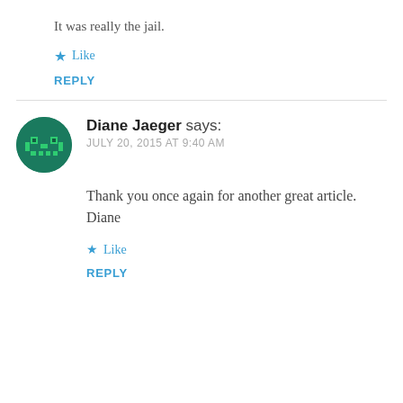It was really the jail.
★ Like
REPLY
[Figure (illustration): Round green avatar icon with a pixel-art robot/game controller face in bright green on a dark green background]
Diane Jaeger says: JULY 20, 2015 AT 9:40 AM
Thank you once again for another great article.
Diane
★ Like
REPLY